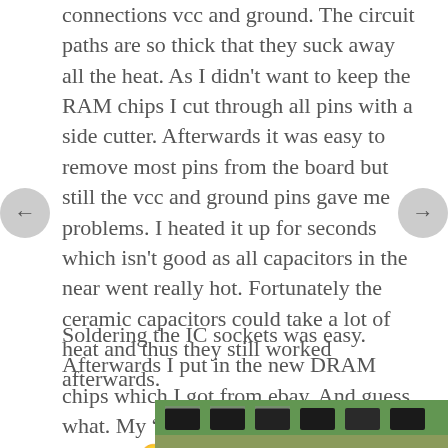connections vcc and ground. The circuit paths are so thick that they suck away all the heat. As I didn't want to keep the RAM chips I cut through all pins with a side cutter. Afterwards it was easy to remove most pins from the board but still the vcc and ground pins gave me problems. I heated it up for seconds which isn't good as all capacitors in the near went really hot. Fortunately the ceramic capacitors could take a lot of heat and thus they still worked afterwards.
Soldering the IC sockets was easy. Afterwards I put in the new DRAM chips which I got from ebay. And guess what. My “new” C64 worked on the first try! 🙂
[Figure (photo): Photo of a circuit board (C64 motherboard), green PCB with integrated circuits visible]